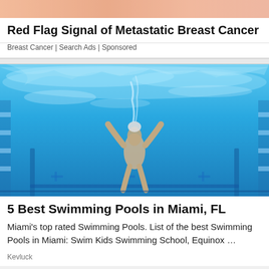[Figure (photo): Cropped top portion of a person, skin tones visible, top of a medical/health advertisement image]
Red Flag Signal of Metastatic Breast Cancer
Breast Cancer | Search Ads | Sponsored
[Figure (photo): Underwater photograph of a swimmer in a blue swimming pool, viewed from below, with light refracting through the water surface creating patterns]
5 Best Swimming Pools in Miami, FL
Miami's top rated Swimming Pools. List of the best Swimming Pools in Miami: Swim Kids Swimming School, Equinox …
Kevluck